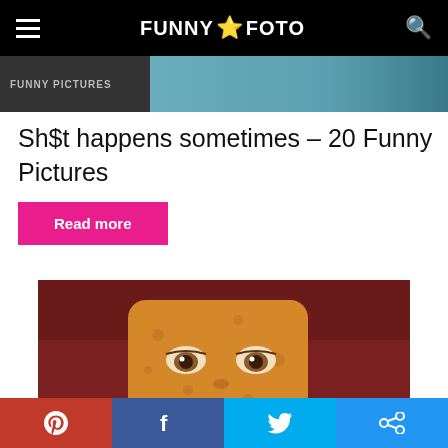FUNNY FOTO
[Figure (screenshot): Top strip showing FUNNY PICTURES label and partial image]
Sh$t happens sometimes – 20 Funny Pictures
Read more
[Figure (photo): Spongebob character with realistic human face expressions – meme image with MEMES label overlay]
Pinterest | Facebook | Twitter | Share social buttons